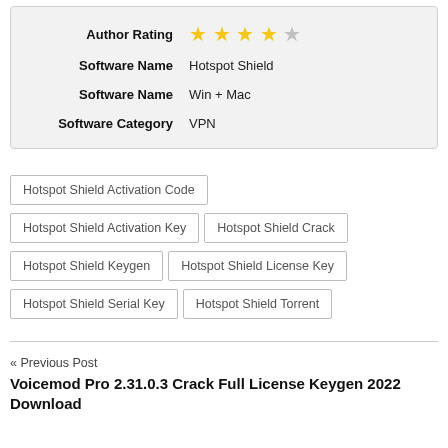| Author Rating | ★★★★☆ |
| Software Name | Hotspot Shield |
| Software Name | Win + Mac |
| Software Category | VPN |
Hotspot Shield Activation Code
Hotspot Shield Activation Key
Hotspot Shield Crack
Hotspot Shield Keygen
Hotspot Shield License Key
Hotspot Shield Serial Key
Hotspot Shield Torrent
« Previous Post
Voicemod Pro 2.31.0.3 Crack Full License Keygen 2022 Download